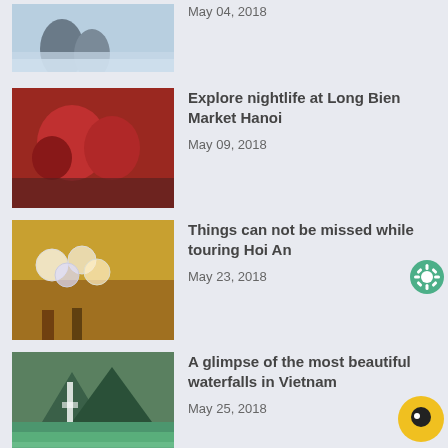[Figure (photo): Thumbnail of Ha Long Bay misty water landscape]
May 04, 2018
Explore nightlife at Long Bien Market Hanoi
[Figure (photo): Thumbnail of red fruit/vegetables at market]
May 09, 2018
Things can not be missed while touring Hoi An
[Figure (photo): Thumbnail of colorful lanterns and decor in Hoi An]
May 23, 2018
A glimpse of the most beautiful waterfalls in Vietnam
[Figure (photo): Thumbnail of waterfall in Vietnam]
May 25, 2018
Top 7 things to see in Phu Yen
[Figure (photo): Thumbnail of rocky coastline in Phu Yen]
Jun 21, 2018
A new founded paradise in the Northwest of Vietnam – Pu Luong
[Figure (photo): Thumbnail of mountain landscape in Northwest Vietnam]